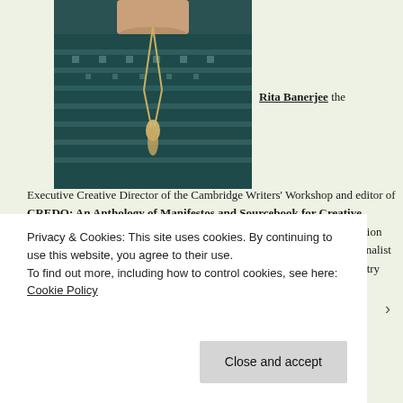[Figure (photo): Portrait photo of Rita Banerjee, partially visible from shoulders up, wearing a dark teal patterned sweater and a long necklace. The photo is cropped to show neck/chin area and upper body.]
Rita Banerjee the Executive Creative Director of the Cambridge Writers' Workshop and editor of CREDO: An Anthology of Manifestos and Sourcebook for Creative Writing (C&R Press, May 2018). She is the author of the poetry collection Echo in Four Beats (Finishing Line Press, March 2018), which was a finalist for the Red Hen Press Benjamin Saltman Award, Three Mile Harbor Poetry Prize, and Aquarius Press /
Privacy & Cookies: This site uses cookies. By continuing to use this website, you agree to their use.
To find out more, including how to control cookies, see here: Cookie Policy
Close and accept